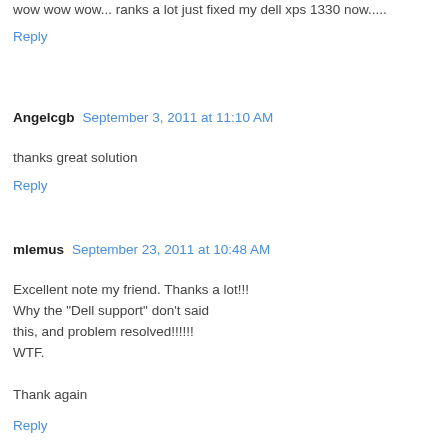wow wow wow... ranks a lot just fixed my dell xps 1330 now.....
Reply
Angelcgb  September 3, 2011 at 11:10 AM
thanks great solution
Reply
mlemus  September 23, 2011 at 10:48 AM
Excellent note my friend. Thanks a lot!!!
Why the "Dell support" don't said
this, and problem resolved!!!!!!
WTF.

Thank again
Reply